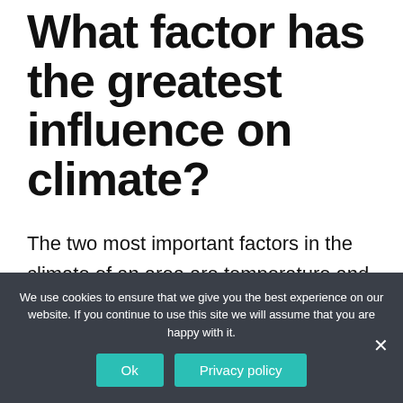What factor has the greatest influence on climate?
The two most important factors in the climate of an area are temperature and precipitation. The yearly average temperature of the area is obviously important, but the yearly range in temperature is also important. Some areas
We use cookies to ensure that we give you the best experience on our website. If you continue to use this site we will assume that you are happy with it.